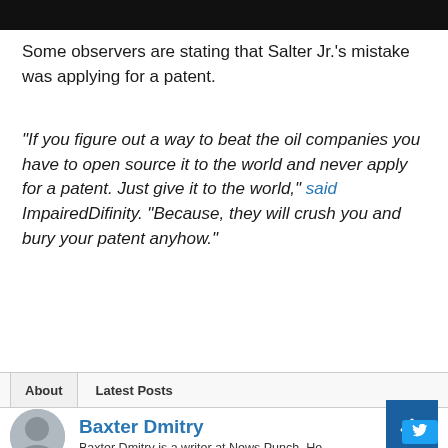[Figure (photo): Black header bar at top of page]
Some observers are stating that Salter Jr.'s mistake was applying for a patent.
“If you figure out a way to beat the oil companies you have to open source it to the world and never apply for a patent. Just give it to the world,” said ImpairedDifinity. “Because, they will crush you and bury your patent anyhow.”
About  Latest Posts
Baxter Dmitry
Baxter Dmitry is a writer at News Punch. He